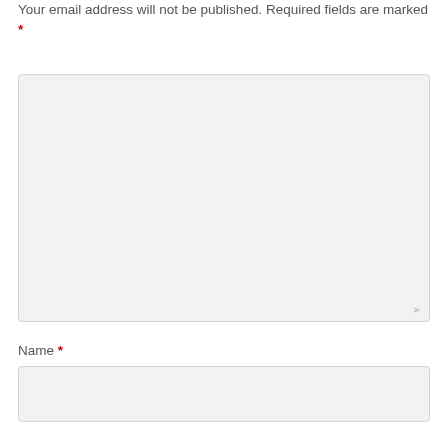Your email address will not be published. Required fields are marked *
[Figure (other): Large empty comment textarea form field with resize handle in bottom-right corner]
Name *
[Figure (other): Single-line text input form field for name entry]